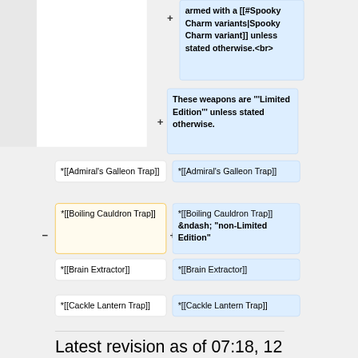armed with a [[#Spooky Charm variants|Spooky Charm variant]] unless stated otherwise.<br>
These weapons are '''Limited Edition''' unless stated otherwise.
*[[Admiral's Galleon Trap]]
*[[Admiral's Galleon Trap]]
*[[Boiling Cauldron Trap]]
*[[Boiling Cauldron Trap]] &ndash; "non-Limited Edition"
*[[Brain Extractor]]
*[[Brain Extractor]]
*[[Cackle Lantern Trap]]
*[[Cackle Lantern Trap]]
Latest revision as of 07:18, 12 March 2022